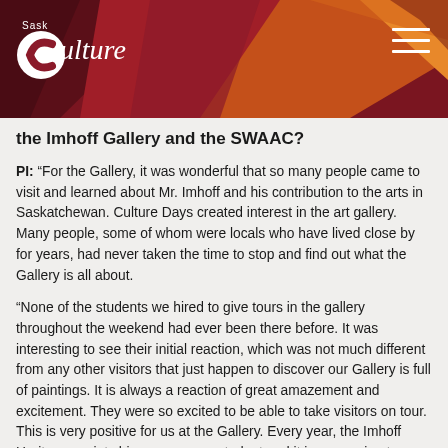[Figure (logo): SaskCulture logo with decorative geometric shapes in red, orange, and dark red on banner background]
the Imhoff Gallery and the SWAAC?
PI: “For the Gallery, it was wonderful that so many people came to visit and learned about Mr. Imhoff and his contribution to the arts in Saskatchewan. Culture Days created interest in the art gallery. Many people, some of whom were locals who have lived close by for years, had never taken the time to stop and find out what the Gallery is all about.
“None of the students we hired to give tours in the gallery throughout the weekend had ever been there before. It was interesting to see their initial reaction, which was not much different from any other visitors that just happen to discover our Gallery is full of paintings. It is always a reaction of great amazement and excitement. They were so excited to be able to take visitors on tour. This is very positive for us at the Gallery. Every year, the Imhoff Heritage society hires a summer student and it is reassuring to know